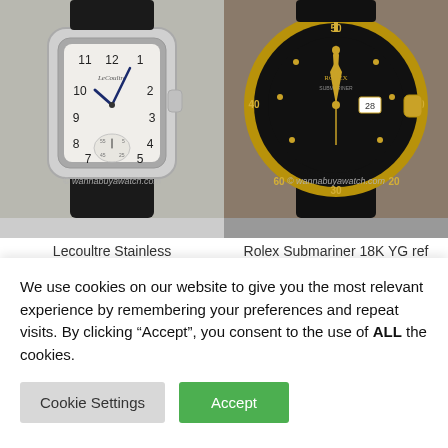[Figure (photo): Two vintage watches side by side: left is a Lecoultre Stainless rectangular watch from the 1940s with white dial and black leather strap; right is a Rolex Submariner 18K Yellow Gold ref 16808 Transitional with black dial, gold-tone case, and black strap. Both have watermark 'wannabuyawatch.com'.]
Lecoultre Stainless
Rectangle, circa 1940s
Rolex Submariner 18K YG ref
16808 Transitional "Nipple"
We use cookies on our website to give you the most relevant experience by remembering your preferences and repeat visits. By clicking “Accept”, you consent to the use of ALL the cookies.
Cookie Settings
Accept